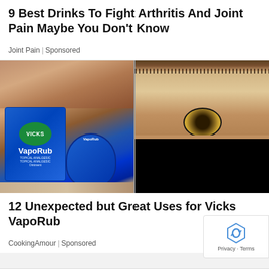9 Best Drinks To Fight Arthritis And Joint Pain Maybe You Don't Know
Joint Pain | Sponsored
[Figure (photo): Composite image: left side shows Vicks VapoRub product box and open jar with someone applying the cream; right side shows a close-up of a human eye (iris visible) and a black rectangle covering the lower portion]
12 Unexpected but Great Uses for Vicks VapoRub
CookingAmour | Sponsored